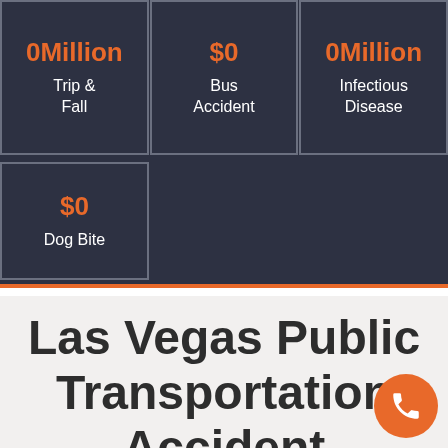[Figure (infographic): Dark background section showing settlement/verdict cards in a grid. Row 1 has 3 cards: '0Million / Trip & Fall', '$0 / Bus Accident', '0Million / Infectious Disease'. Row 2 has 1 card: '$0 / Dog Bite'.]
Las Vegas Public Transportation Accident Attorney